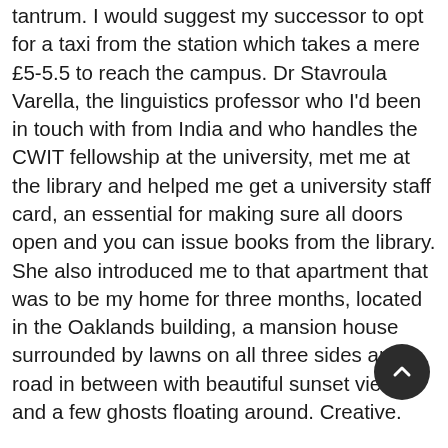tantrum. I would suggest my successor to opt for a taxi from the station which takes a mere £5-5.5 to reach the campus. Dr Stavroula Varella, the linguistics professor who I'd been in touch with from India and who handles the CWIT fellowship at the university, met me at the library and helped me get a university staff card, an essential for making sure all doors open and you can issue books from the library. She also introduced me to that apartment that was to be my home for three months, located in the Oaklands building, a mansion house surrounded by lawns on all three sides and a road in between with beautiful sunset views and a few ghosts floating around. Creative.
There were two new things that happened for my fellowship in terms of logistics which I found really useful (the older fellows haven't availed either of these facilities): One was the catering option I got added to my staff card. Catering option costs about £50 per month and gives you £8 per day allowance to spend at the campus canteen. The canteen offers hot meals for lunch and dinner as well as healthy sandwiches with a lot of vegetarian options if